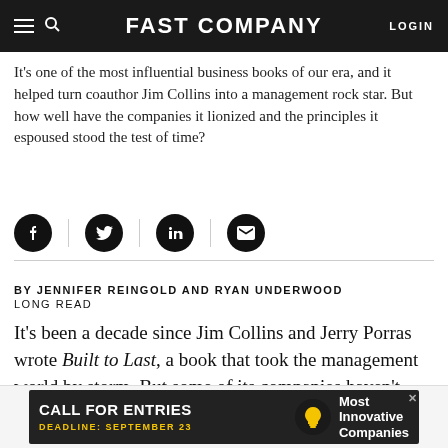FAST COMPANY | LOGIN
It's one of the most influential business books of our era, and it helped turn coauthor Jim Collins into a management rock star. But how well have the companies it lionized and the principles it espoused stood the test of time?
[Figure (infographic): Social sharing icons: Facebook, Twitter, LinkedIn, Email — circular black buttons separated by vertical dividers]
BY JENNIFER REINGOLD AND RYAN UNDERWOOD
LONG READ
It's been a decade since Jim Collins and Jerry Porras wrote Built to Last, a book that took the management world by storm. But some of its companies haven't held up as well as its sales.
[Figure (infographic): Advertisement banner: CALL FOR ENTRIES — DEADLINE: SEPTEMBER 23 — Most Innovative Companies]